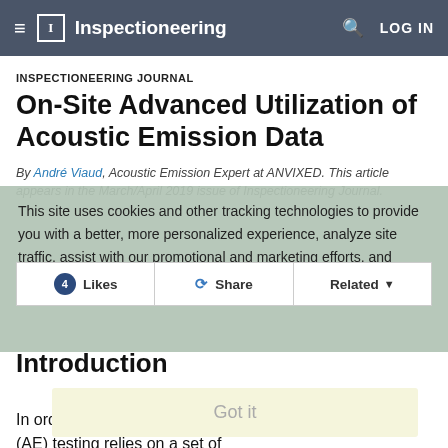Inspectioneering
INSPECTIONEERING JOURNAL
On-Site Advanced Utilization of Acoustic Emission Data
By André Viaud, Acoustic Emission Expert at ANVIXED. This article appears in the March/April 2019 issue of Inspectioneering Journal.
This site uses cookies and other tracking technologies to provide you with a better, more personalized experience, analyze site traffic, assist with our promotional and marketing efforts, and provide content from third parties. Cookies Policy
4 Likes  Share  Related
Introduction
Got it
In order to utilize data most effectively, acoustic emission (AE) testing relies on a set of